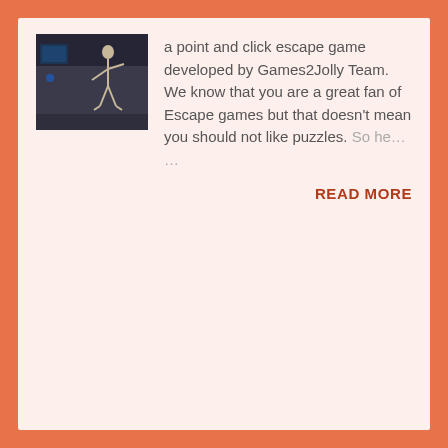[Figure (screenshot): Thumbnail screenshot of a dark room escape game showing a skeleton figure standing in a dimly lit industrial room]
a point and click escape game developed by Games2Jolly Team. We know that you are a great fan of Escape games but that doesn't mean you should not like puzzles. So he... ...
READ MORE